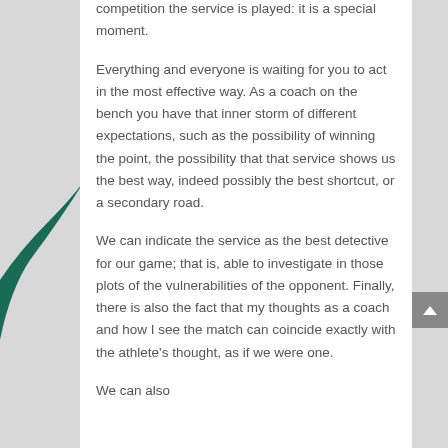competition the service is played: it is a special moment.
Everything and everyone is waiting for you to act in the most effective way. As a coach on the bench you have that inner storm of different expectations, such as the possibility of winning the point, the possibility that that service shows us the best way, indeed possibly the best shortcut, or a secondary road.
We can indicate the service as the best detective for our game; that is, able to investigate in those plots of the vulnerabilities of the opponent. Finally, there is also the fact that my thoughts as a coach and how I see the match can coincide exactly with the athlete's thought, as if we were one.
We can also...